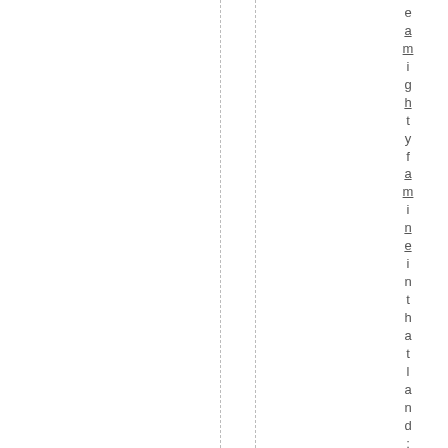e a m i g h t y f r a m i n e i n t h a t l a n d : a n d h e